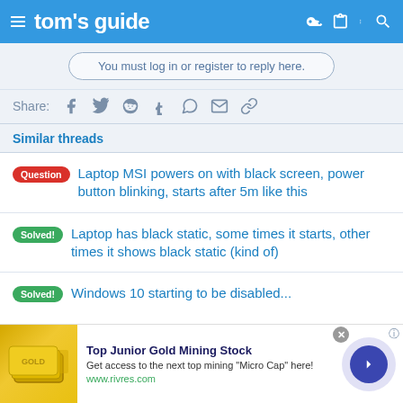tom's guide
You must log in or register to reply here.
Share:
Similar threads
Question  Laptop MSI powers on with black screen, power button blinking, starts after 5m like this
Solved!  Laptop has black static, some times it starts, other times it shows black static (kind of)
[Figure (screenshot): Advertisement banner for Top Junior Gold Mining Stock from www.rivres.com with gold bar image]
Top Junior Gold Mining Stock
Get access to the next top mining "Micro Cap" here!
www.rivres.com